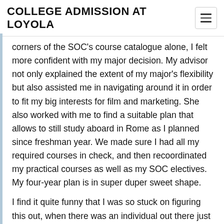COLLEGE ADMISSION AT LOYOLA
corners of the SOC's course catalogue alone, I felt more confident with my major decision. My advisor not only explained the extent of my major's flexibility but also assisted me in navigating around it in order to fit my big interests for film and marketing. She also worked with me to find a suitable plan that allows to still study aboard in Rome as I planned since freshman year. We made sure I had all my required courses in check, and then recoordinated my practical courses as well as my SOC electives. My four-year plan is in super duper sweet shape.
I find it quite funny that I was so stuck on figuring this out, when there was an individual out there just